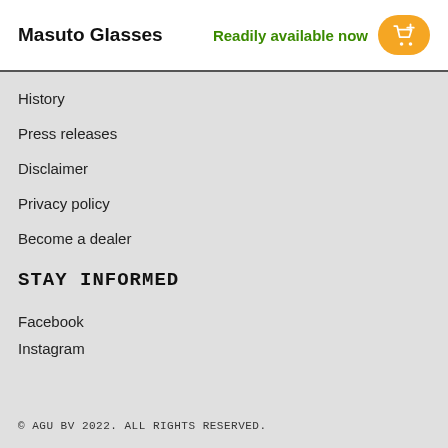Masuto Glasses | Readily available now
History
Press releases
Disclaimer
Privacy policy
Become a dealer
STAY INFORMED
Facebook
Instagram
© AGU BV 2022. ALL RIGHTS RESERVED.